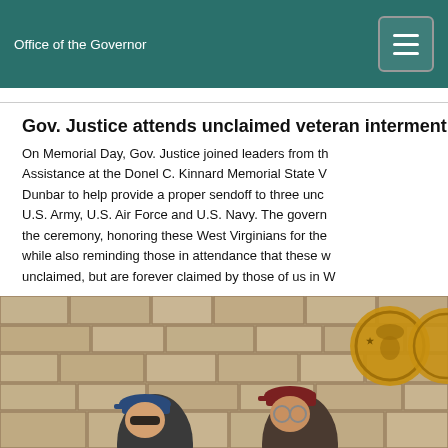Office of the Governor
Gov. Justice attends unclaimed veteran interment
On Memorial Day, Gov. Justice joined leaders from the Assistance at the Donel C. Kinnard Memorial State Veterans Dunbar to help provide a proper sendoff to three unclaimed veterans from the U.S. Army, U.S. Air Force and U.S. Navy. The governor spoke at the ceremony, honoring these West Virginians for their service while also reminding those in attendance that these veterans may be unclaimed, but are forever claimed by those of us in West Virginia.
[Figure (photo): Photo of people in caps standing in front of a stone wall with military medallions, at a veteran interment ceremony.]